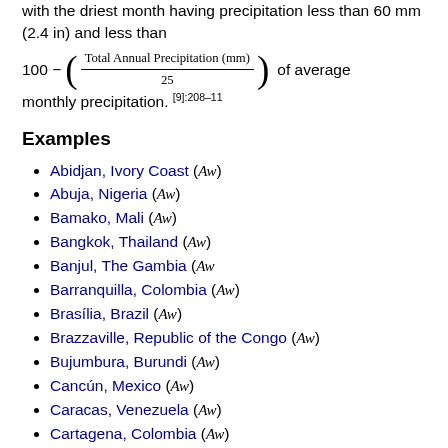with the driest month having precipitation less than 60 mm (2.4 in) and less than
of average monthly precipitation. [9]:208–11
Examples
Abidjan, Ivory Coast (Aw)
Abuja, Nigeria (Aw)
Bamako, Mali (Aw)
Bangkok, Thailand (Aw)
Banjul, The Gambia (Aw
Barranquilla, Colombia (Aw)
Brasília, Brazil (Aw)
Brazzaville, Republic of the Congo (Aw)
Bujumbura, Burundi (Aw)
Cancún, Mexico (Aw)
Caracas, Venezuela (Aw)
Cartagena, Colombia (Aw)
Chennai, Tamil Nadu, India (Aw)